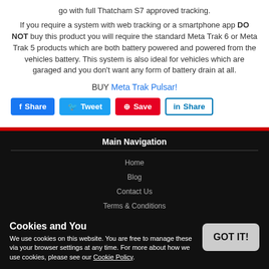go with full Thatcham S7 approved tracking.
If you require a system with web tracking or a smartphone app DO NOT buy this product you will require the standard Meta Trak 6 or Meta Trak 5 products which are both battery powered and powered from the vehicles battery. This system is also ideal for vehicles which are garaged and you don't want any form of battery drain at all.
BUY Meta Trak Pulsar!
[Figure (other): Social share buttons: Facebook Share, Tweet, Pinterest Save, LinkedIn Share]
Main Navigation | Home | Blog | Contact Us | Terms & Conditions | Site Map
Cookies and You - We use cookies on this website. You are free to manage these via your browser settings at any time. For more about how we use cookies, please see our Cookie Policy.